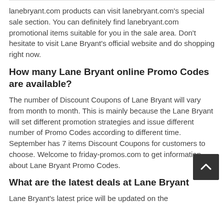lanebryant.com products can visit lanebryant.com's special sale section. You can definitely find lanebryant.com promotional items suitable for you in the sale area. Don't hesitate to visit Lane Bryant's official website and do shopping right now.
How many Lane Bryant online Promo Codes are available?
The number of Discount Coupons of Lane Bryant will vary from month to month. This is mainly because the Lane Bryant will set different promotion strategies and issue different number of Promo Codes according to different time. September has 7 items Discount Coupons for customers to choose. Welcome to friday-promos.com to get information about Lane Bryant Promo Codes.
What are the latest deals at Lane Bryant
Lane Bryant's latest price will be updated on the